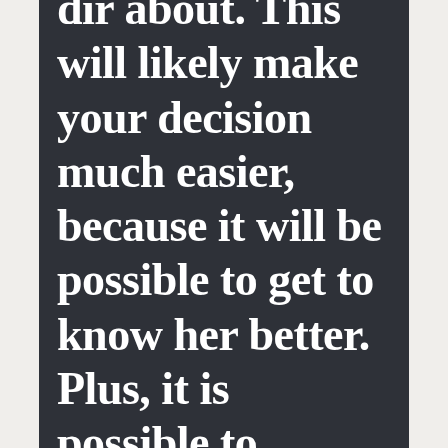…dir about. This will likely make your decision much easier, because it will be possible to get to know her better. Plus, it is possible to discover what her choices are